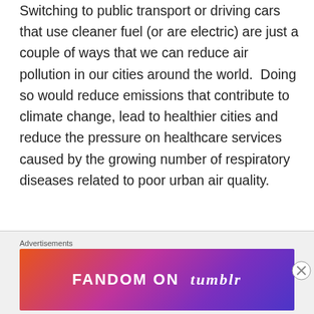Switching to public transport or driving cars that use cleaner fuel (or are electric) are just a couple of ways that we can reduce air pollution in our cities around the world.  Doing so would reduce emissions that contribute to climate change, lead to healthier cities and reduce the pressure on healthcare services caused by the growing number of respiratory diseases related to poor urban air quality.
Agriculture
[Figure (other): Advertisement banner for Fandom on Tumblr with colorful gradient background (orange, purple, blue) and white text reading FANDOM ON tumblr]